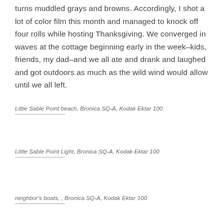turns muddled grays and browns. Accordingly, I shot a lot of color film this month and managed to knock off four rolls while hosting Thanksgiving. We converged in waves at the cottage beginning early in the week–kids, friends, my dad–and we all ate and drank and laughed and got outdoors as much as the wild wind would allow until we all left.
Little Sable Point beach, Bronica SQ-A, Kodak Ektar 100
Little Sable Point Light, Bronica SQ-A, Kodak Ektar 100
neighbor's boats, , Bronica SQ-A, Kodak Ektar 100